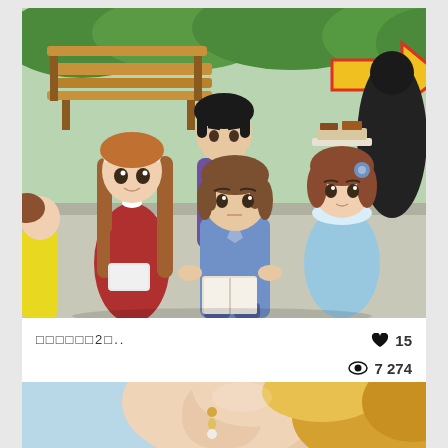[Figure (illustration): Anime-style illustration showing four characters in an outdoor park setting with a bench and green bushes. A yellow arrow points right in the upper area. Characters include a girl in red dress with long brown hair, a boy in purple shirt, a male character in blue shirt reading/looking at something, and a girl in blue top with short brown hair and a blue flower accessory. Partially visible character on left in yellow.]
□□□□□□2□..
♥ 15
👁 7 274
18/08/2020
[Figure (photo): Partial photo showing a person with blonde curly hair wearing a pearl/gold earring, skin visible, against a light blue background.]